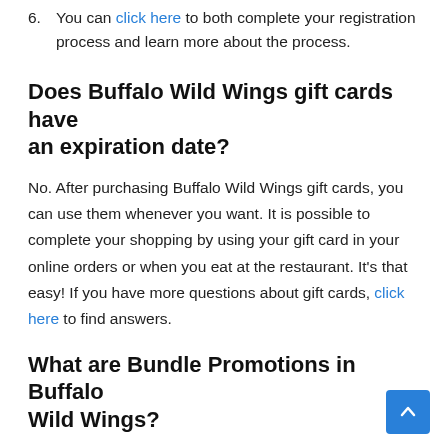6. You can click here to both complete your registration process and learn more about the process.
Does Buffalo Wild Wings gift cards have an expiration date?
No. After purchasing Buffalo Wild Wings gift cards, you can use them whenever you want. It is possible to complete your shopping by using your gift card in your online orders or when you eat at the restaurant. It's that easy! If you have more questions about gift cards, click here to find answers.
What are Bundle Promotions in Buffalo Wild Wings?
Buffalo Wild Wings allows you to shop in the most advantageous way, thanks to periodic campaigns and promotions.